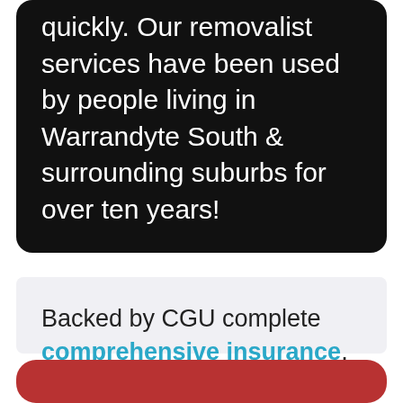quickly. Our removalist services have been used by people living in Warrandyte South & surrounding suburbs for over ten years!
Backed by CGU complete comprehensive insurance, you can be confident in knowing that all your furniture, fixtures and fittings are insured during your move. In the unlikely event something does happen – you are completed covered.
[Figure (other): Red rounded button at the bottom of the page]